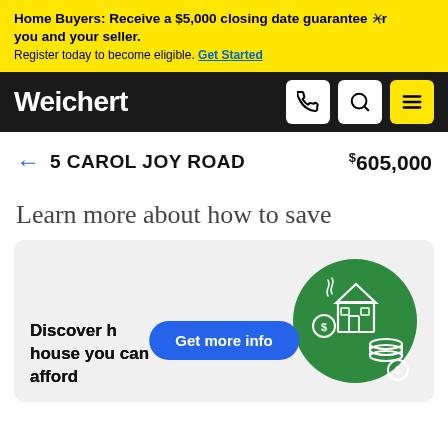Home Buyers: Receive a $5,000 closing date guarantee for you and your seller. Register today to become eligible. Get Started
Weichert
← 5 CAROL JOY ROAD   $605,000
Learn more about how to save
[Figure (illustration): Green circle illustration with a house, piggy bank, and stacked coins]
Discover how much house you can afford
Get more info